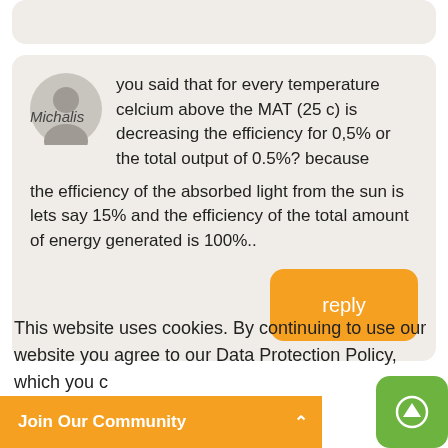you said that for every temperature celcium above the MAT (25 c) is decreasing the efficiency for 0,5% or the total output of 0.5%? because the efficiency of the absorbed light from the sun is lets say 15% and the efficiency of the total amount of energy generated is 100%..
Michalis
reply
This website uses cookies. By continuing to use our website you agree to our Data Protection Policy, which you c...
Join Our Community